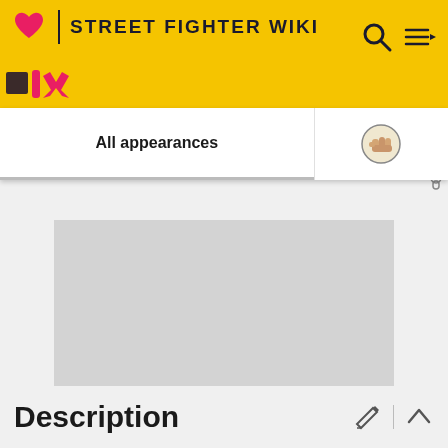STREET FIGHTER WIKI
All appearances
[Figure (other): Grey advertisement placeholder box]
ADVERTISEMENT
Description